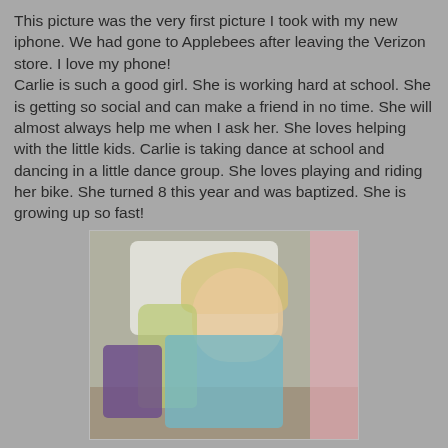This picture was the very first picture I took with my new iphone. We had gone to Applebees after leaving the Verizon store. I love my phone!
Carlie is such a good girl. She is working hard at school. She is getting so social and can make a friend in no time. She will almost always help me when I ask her. She loves helping with the little kids. Carlie is taking dance at school and dancing in a little dance group. She loves playing and riding her bike. She turned 8 this year and was baptized. She is growing up so fast!
[Figure (photo): A young blonde girl smiling, lying on a pillow and holding a doll (Rapunzel). She is wearing a colorful floral dress. There are pink blankets and a purple stuffed animal nearby.]
Maci is my little tender hearted girl! She trys so hard to make